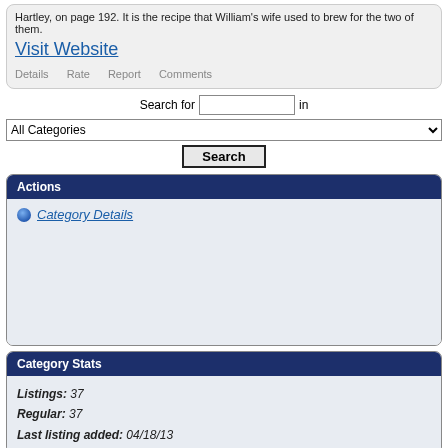Hartley, on page 192. It is the recipe that William's wife used to brew for the two of them.
Visit Website
Details   Rate   Report   Comments
Search for [input] in
All Categories [dropdown]
Search
Actions
Category Details
Category Stats
Listings: 37
Regular: 37
Last listing added: 04/18/13